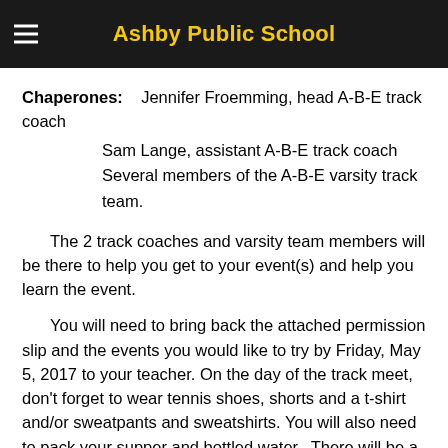Ashby Public School
they are going to ride home with a parent, you will need to sign them out with an ABE coach.
Chaperones:    Jennifer Froemming, head A-B-E track coach
        Sam Lange, assistant A-B-E track coach
        Several members of the A-B-E varsity track team.
The 2 track coaches and varsity team members will be there to help you get to your event(s) and help you learn the event.
You will need to bring back the attached permission slip and the events you would like to try by Friday, May 5, 2017 to your teacher. On the day of the track meet, don't forget to wear tennis shoes, shorts and a t-shirt and/or sweatpants and sweatshirts. You will also need to pack your supper and bottled water.  There will be a concession stand available; we will not be stopping to eat.